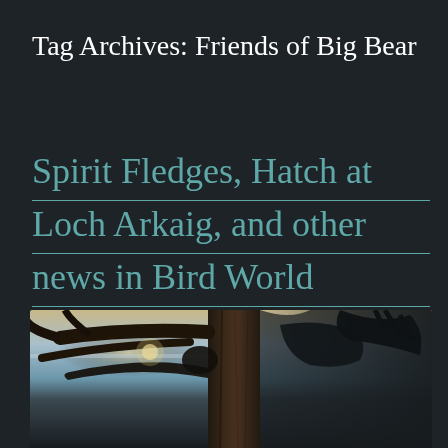Tag Archives: Friends of Big Bear
Spirit Fledges, Hatch at Loch Arkaig, and other news in Bird World
[Figure (photo): Photograph of an eagle or large bird of prey perched or flying near a tree trunk, silhouetted against a dusk/dawn sky with warm horizon light and dark foreground vegetation.]